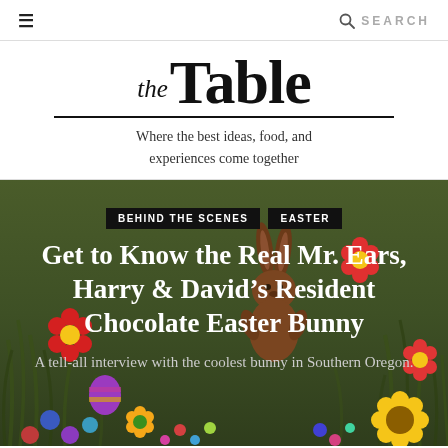≡   SEARCH
the Table — Where the best ideas, food, and experiences come together
[Figure (photo): Hero image with green background showing Easter-themed chocolate candy decorations including a chocolate bunny, colorful candy flowers, and Easter eggs arranged on green grass. Overlaid with category tags and article title text.]
BEHIND THE SCENES   EASTER
Get to Know the Real Mr. Ears, Harry & David's Resident Chocolate Easter Bunny
A tell-all interview with the coolest bunny in Southern Oregon.